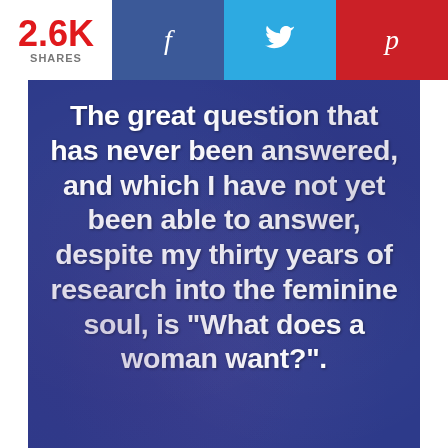2.6K SHARES
[Figure (infographic): Social media share buttons: Facebook (f), Twitter (bird icon), Pinterest (p)]
[Figure (infographic): Dark blue textured background with white bold quote text reading: The great question that has never been answered, and which I have not yet been able to answer, despite my thirty years of research into the feminine soul, is "What does a woman want?".]